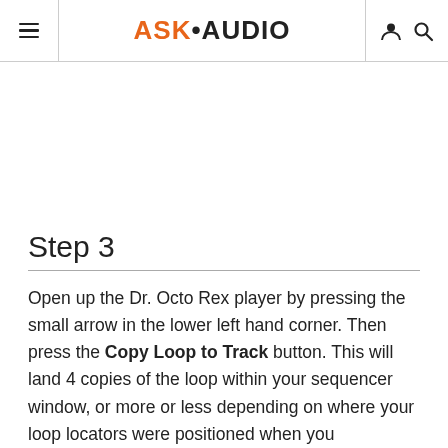ASK·AUDIO
Step 3
Open up the Dr. Octo Rex player by pressing the small arrow in the lower left hand corner. Then press the Copy Loop to Track button. This will land 4 copies of the loop within your sequencer window, or more or less depending on where your loop locators were positioned when you